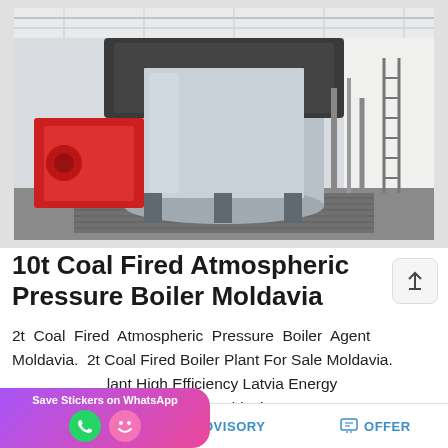[Figure (photo): Industrial coal-fired atmospheric pressure boiler installed in a clean white building, with red burner section, silver cylindrical body, black heat exchanger top, and metal piping/ladders. The boiler sits on a metal grate floor.]
10t Coal Fired Atmospheric Pressure Boiler Moldavia
2t Coal Fired Atmospheric Pressure Boiler Agent Moldavia. 2t Coal Fired Boiler Plant For Sale Moldavia. ...lant High Efficiency Latvia Energy ...ss Fired Boiler Moldavia. 6T 1 To...
MAIL   ADVISORY   OFFER